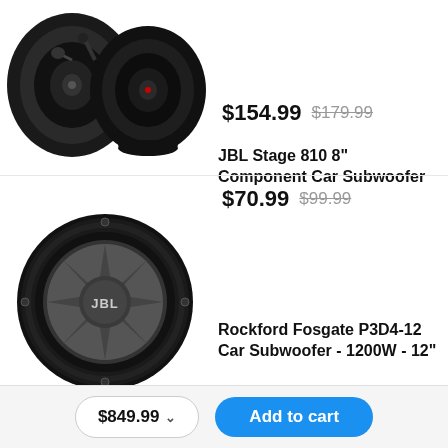[Figure (photo): Two black Rockford Fosgate car speakers (coaxial), partially visible at top of page]
$154.99  $179.99
JBL Stage 810 8" Component Car Subwoofer
[Figure (photo): JBL Stage 810 round black car subwoofer with JBL logo on grey cone]
$70.99  $99.99
Rockford Fosgate P3D4-12 Car Subwoofer - 1200W - 12"
[Figure (photo): Partially visible Rockford Fosgate subwoofer at bottom of page]
$849.99
Add to cart